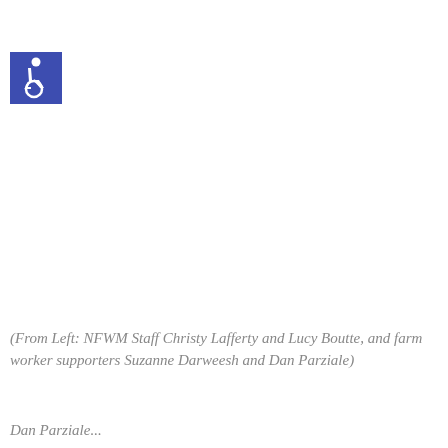[Figure (illustration): Blue square background with white International Symbol of Access (wheelchair accessibility icon) — a stylized figure in a wheelchair]
(From Left: NFWM Staff Christy Lafferty and Lucy Boutte, and farm worker supporters Suzanne Darweesh and Dan Parziale)
Dan Parziale...